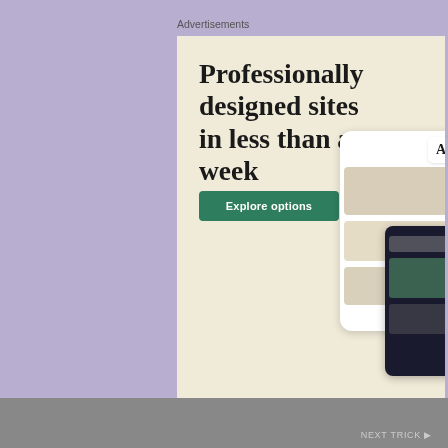Advertisements
[Figure (screenshot): WordPress.com advertisement banner with cream/beige background. Large serif headline reads 'Professionally designed sites in less than a week'. Green 'Explore options' button below. WordPress circular logo (W in circle) at bottom left. Small icon with envelope/box symbol. Right side shows phone/tablet mockups with website layouts featuring food photography.]
Privacy & Cookies: This site uses cookies. By continuing to use this website, you agree to their use.
To find out more, including how to control cookies, see here: Cookie Policy
Close and accept